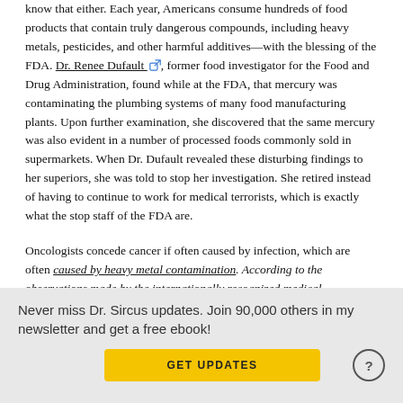know that either. Each year, Americans consume hundreds of food products that contain truly dangerous compounds, including heavy metals, pesticides, and other harmful additives—with the blessing of the FDA. Dr. Renee Dufault, former food investigator for the Food and Drug Administration, found while at the FDA, that mercury was contaminating the plumbing systems of many food manufacturing plants. Upon further examination, she discovered that the same mercury was also evident in a number of processed foods commonly sold in supermarkets. When Dr. Dufault revealed these disturbing findings to her superiors, she was told to stop her investigation. She retired instead of having to continue to work for medical terrorists, which is exactly what the stop staff of the FDA are.
Oncologists concede cancer if often caused by infection, which are often caused by heavy metal contamination. According to the observations made by the internationally recognized medical researcher, Dr. Yoshiaki Omura, all cancer cells have mercury in them. The single greatest source of mercury contamination is mercury containing dental amalgum and
Never miss Dr. Sircus updates. Join 90,000 others in my newsletter and get a free ebook!